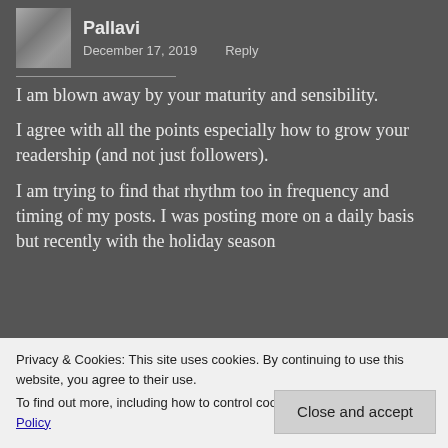Pallavi — December 17, 2019 — Reply
I am blown away by your maturity and sensibility.
I agree with all the points especially how to grow your readership (and not just followers).
I am trying to find that rhythm too in frequency and timing of my posts. I was posting more on a daily basis but recently with the holiday season
Privacy & Cookies: This site uses cookies. By continuing to use this website, you agree to their use.
To find out more, including how to control cookies, see here: Cookie Policy
Close and accept